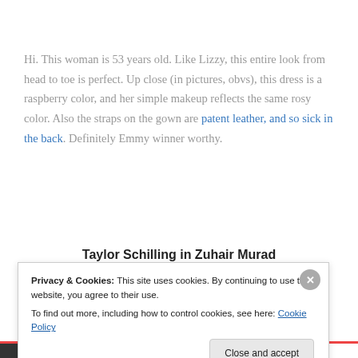Hi. This woman is 53 years old. Like Lizzy, this entire look from head to toe is perfect. Up close (in pictures, obvs), this dress is a raspberry color, and her simple makeup reflects the same rosy color. Also the straps on the gown are patent leather, and so sick in the back. Definitely Emmy winner worthy.
Taylor Schilling in Zuhair Murad
Privacy & Cookies: This site uses cookies. By continuing to use this website, you agree to their use. To find out more, including how to control cookies, see here: Cookie Policy